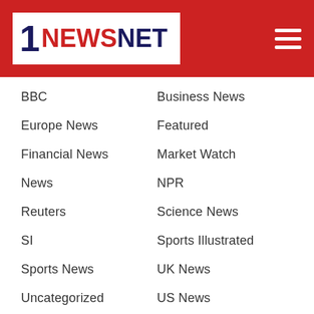1 NEWS NET
BBC
Business News
Europe News
Featured
Financial News
Market Watch
News
NPR
Reuters
Science News
SI
Sports Illustrated
Sports News
UK News
Uncategorized
US News
World News
TOWER ADS